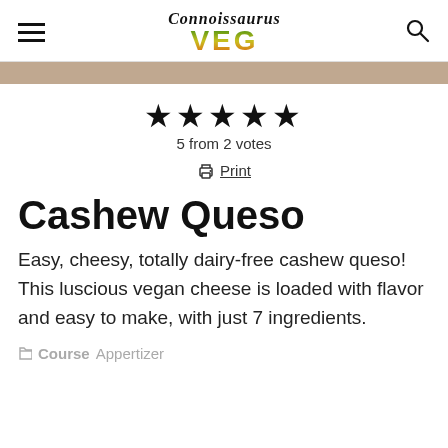Connoissaurus VEG
[Figure (photo): Partial photo strip visible at top of content area]
★★★★★
5 from 2 votes
🖨 Print
Cashew Queso
Easy, cheesy, totally dairy-free cashew queso! This luscious vegan cheese is loaded with flavor and easy to make, with just 7 ingredients.
Course Appertizer